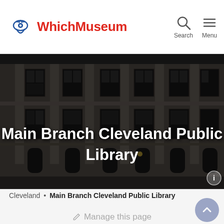[Figure (logo): WhichMuseum logo: blue eye/pin icon and red bold text 'WhichMuseum']
[Figure (screenshot): Navigation icons: magnifying glass for Search and hamburger menu for Menu]
[Figure (photo): Hero photograph of Main Branch Cleveland Public Library building exterior at night, dark neoclassical architecture with columns and large windows]
Main Branch Cleveland Public Library
Cleveland • Main Branch Cleveland Public Library
✎ Manage this page